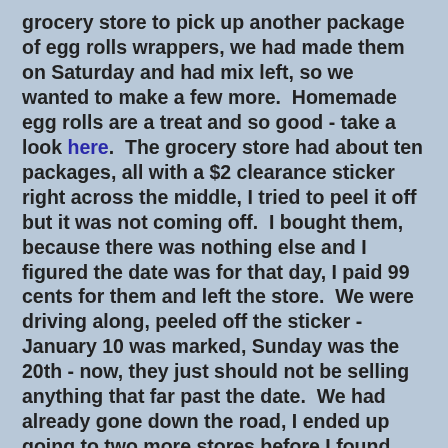grocery store to pick up another package of egg rolls wrappers, we had made them on Saturday and had mix left, so we wanted to make a few more.  Homemade egg rolls are a treat and so good - take a look here.  The grocery store had about ten packages, all with a $2 clearance sticker right across the middle, I tried to peel it off but it was not coming off.  I bought them, because there was nothing else and I figured the date was for that day, I paid 99 cents for them and left the store.  We were driving along, peeled off the sticker - January 10 was marked, Sunday was the 20th - now, they just should not be selling anything that far past the date.  We had already gone down the road, I ended up going to two more stores before I found any more egg roll wrappers - thankfully, they were all close together.